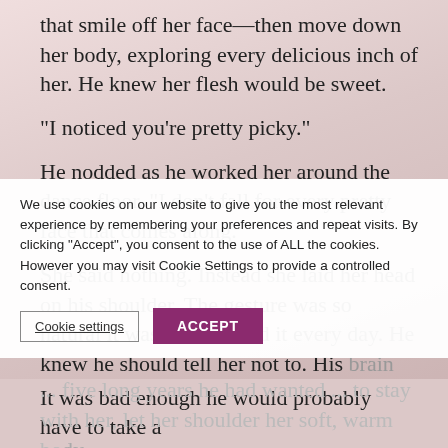that smile off her face—then move down her body, exploring every delicious inch of her. He knew her flesh would be sweet.
“I noticed you’re pretty picky.”
He nodded as he worked her around the dance floor. “I don’t fall for every pretty face that comes along.”
She said nothing. Instead she laid her head on his shoulder. The gesture was so natural it was as if she did it every day. He knew he should tell her not to. His brain said he should do it. But he couldn’t. It was too ... five long years he had wanted that. James and him to stay with her, let her shoulder her soft, warm body in his arms. He had wanted that for so long, he just couldn’t bring himself to stop her.
It was bad enough he would probably have to take a ...
We use cookies on our website to give you the most relevant experience by remembering your preferences and repeat visits. By clicking “Accept”, you consent to the use of ALL the cookies. However you may visit Cookie Settings to provide a controlled consent.